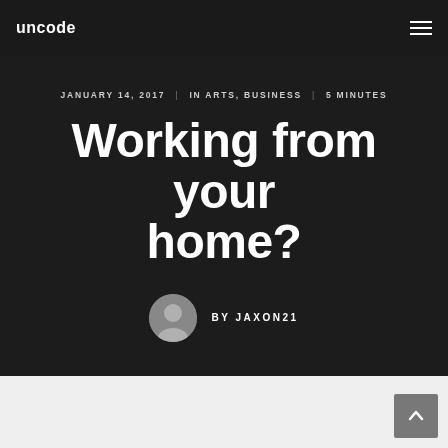uncode
JANUARY 14, 2017 | IN ARTS, BUSINESS | 5 MINUTES
Working from your home?
BY JAXON21
[Figure (illustration): Gray circular user avatar icon with silhouette of a person]
[Figure (illustration): Back-to-top arrow button, gray square with white upward chevron]